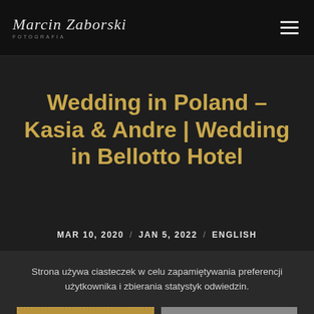Marcin Zaborski Fotografia — navigation logo and hamburger menu
Wedding in Poland – Kasia & Andre | Wedding in Bellotto Hotel
MAR 10, 2020 / JAN 5, 2022 / ENGLISH
Strona używa ciasteczek w celu zapamiętywania preferencji użytkownika i zbierania statystyk odwiedzin.
OK
Decline